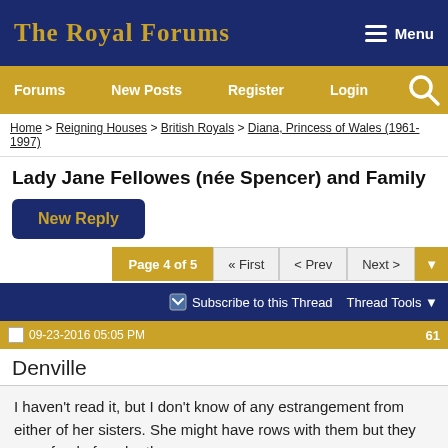The Royal Forums
Forums | New Posts | Register | Login | Search
Home > Reigning Houses > British Royals > Diana, Princess of Wales (1961-1997)
Lady Jane Fellowes (née Spencer) and Family
New Reply
Page 4 of 5 | « First | < Prev | Next >
Subscribe to this Thread | Thread Tools
09-23-2016 05:05 PM | 61
Denville
I haven't read it, but I don't know of any estrangement from either of her sisters. She might have rows with them but they were fond of each other.